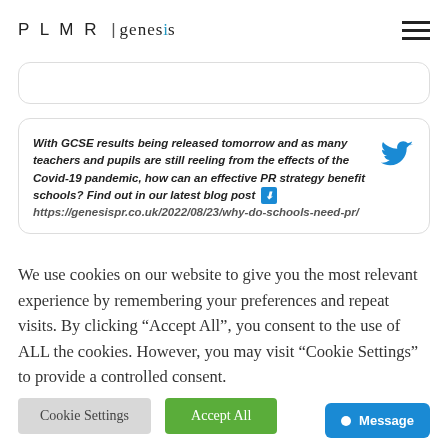PLMR | genesis
[Figure (screenshot): Partially visible rounded card/search box at top]
With GCSE results being released tomorrow and as many teachers and pupils are still reeling from the effects of the Covid-19 pandemic, how can an effective PR strategy benefit schools? Find out in our latest blog post ⬇ https://genesispr.co.uk/2022/08/23/why-do-schools-need-pr/
We use cookies on our website to give you the most relevant experience by remembering your preferences and repeat visits. By clicking “Accept All”, you consent to the use of ALL the cookies. However, you may visit "Cookie Settings" to provide a controlled consent.
Cookie Settings   Accept All